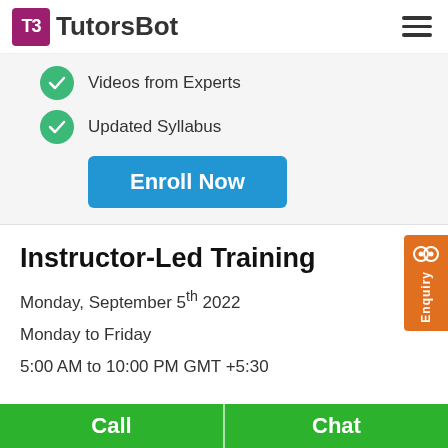TutorsBot
Videos from Experts
Updated Syllabus
Enroll Now
Instructor-Led Training
Monday, September 5th 2022
Monday to Friday
5:00 AM to 10:00 PM GMT +5:30
Call   Chat